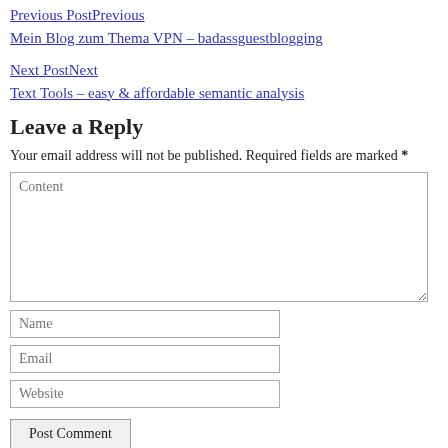Previous PostPrevious
Mein Blog zum Thema VPN – badassguestblogging
Next PostNext
Text Tools – easy & affordable semantic analysis
Leave a Reply
Your email address will not be published. Required fields are marked *
Content (textarea placeholder)
Name (input placeholder)
Email (input placeholder)
Website (input placeholder)
Post Comment (button)